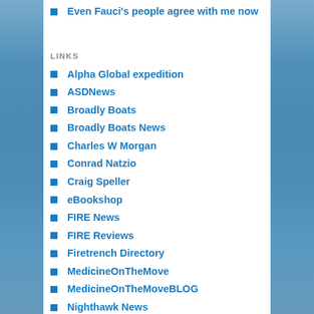Even Fauci's people agree with me now
LINKS
Alpha Global expedition
ASDNews
Broadly Boats
Broadly Boats News
Charles W Morgan
Conrad Natzio
Craig Speller
eBookshop
FIRE News
FIRE Reviews
Firetrench Directory
MedicineOnTheMove
MedicineOnTheMoveBLOG
Nighthawk News
PreJune2011 SAR Archives
SAR News
WAASPS